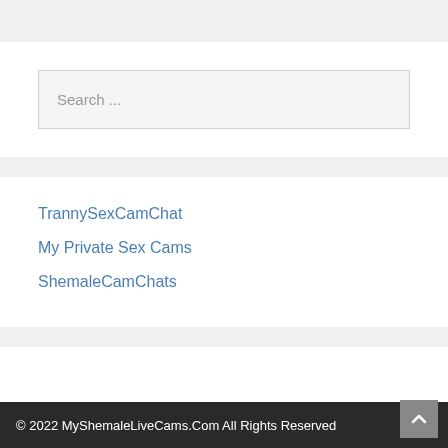Search ...
TrannySexCamChat
My Private Sex Cams
ShemaleCamChats
© 2022 MyShemaleLiveCams.Com All Rights Reserved